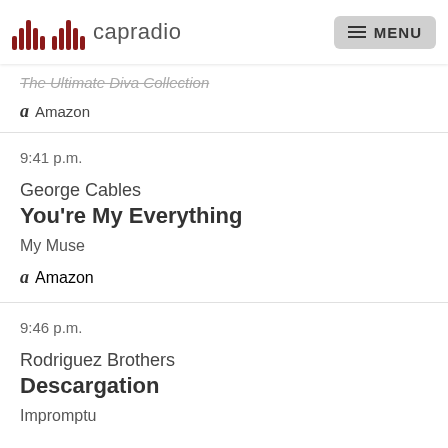capradio  MENU
The Ultimate Diva Collection
Amazon
9:41 p.m.
George Cables
You're My Everything
My Muse
Amazon
9:46 p.m.
Rodriguez Brothers
Descargation
Impromptu